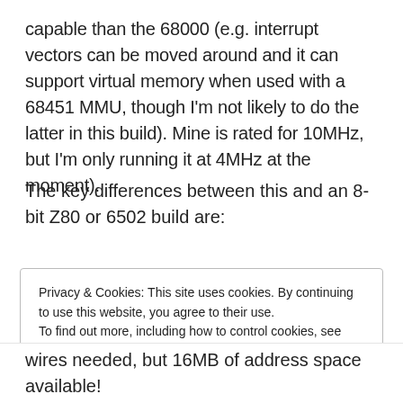capable than the 68000 (e.g. interrupt vectors can be moved around and it can support virtual memory when used with a 68451 MMU, though I'm not likely to do the latter in this build). Mine is rated for 10MHz, but I'm only running it at 4MHz at the moment).
The key differences between this and an 8-bit Z80 or 6502 build are:
Privacy & Cookies: This site uses cookies. By continuing to use this website, you agree to their use.
To find out more, including how to control cookies, see here: Cookie Policy
[Close and accept]
wires needed, but 16MB of address space available!